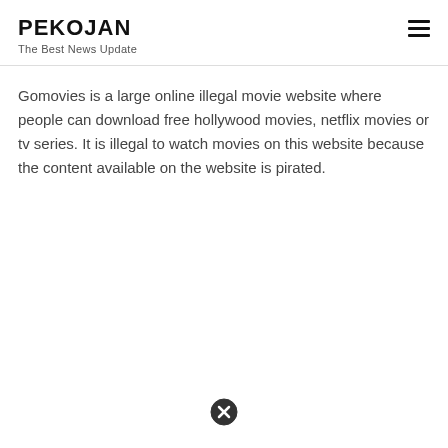PEKOJAN
The Best News Update
Gomovies is a large online illegal movie website where people can download free hollywood movies, netflix movies or tv series. It is illegal to watch movies on this website because the content available on the website is pirated.